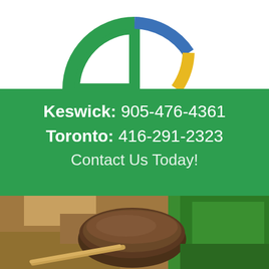[Figure (logo): Partial circular logo with green, blue, and yellow/gold arc segments, visible at top of page cropped from above]
Keswick: 905-476-4361
Toronto: 416-291-2323
Contact Us Today!
[Figure (photo): Photo of sod roll being unrolled onto bare dirt/sandy soil, green grass visible on the right side]